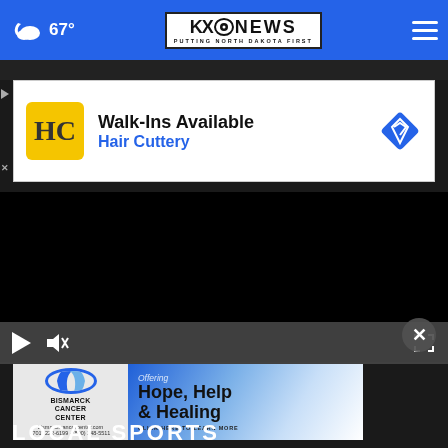67° — KXO NEWS — Putting North Dakota First
[Figure (screenshot): Advertisement banner: Walk-Ins Available – Hair Cuttery with HC logo]
[Figure (screenshot): Black video player area (video not loaded)]
[Figure (screenshot): Advertisement banner: Bismarck Cancer Center – Offering Hope, Help & Healing]
LOCAL SPORTS